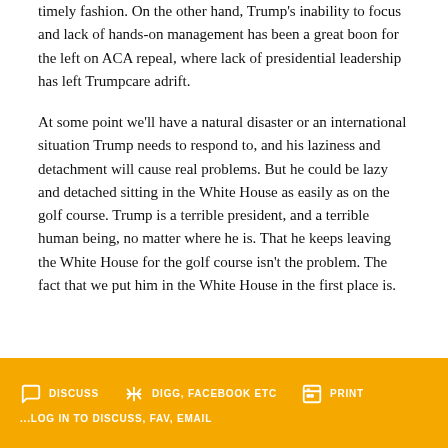timely fashion. On the other hand, Trump's inability to focus and lack of hands-on management has been a great boon for the left on ACA repeal, where lack of presidential leadership has left Trumpcare adrift.
At some point we'll have a natural disaster or an international situation Trump needs to respond to, and his laziness and detachment will cause real problems. But he could be lazy and detached sitting in the White House as easily as on the golf course. Trump is a terrible president, and a terrible human being, no matter where he is. That he keeps leaving the White House for the golf course isn't the problem. The fact that we put him in the White House in the first place is.
DISCUSS   DIGG, FACEBOOK ETC   PRINT   ...LOG IN TO DISCUSS, FAV, EMAIL